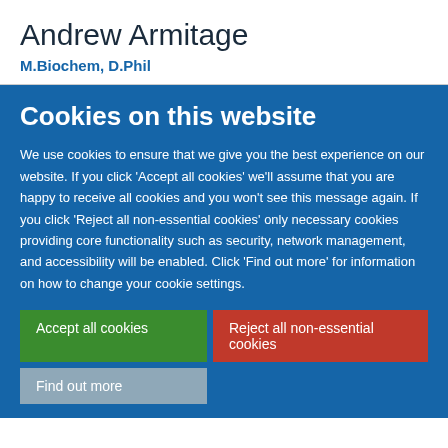Andrew Armitage
M.Biochem, D.Phil
Cookies on this website
We use cookies to ensure that we give you the best experience on our website. If you click 'Accept all cookies' we'll assume that you are happy to receive all cookies and you won't see this message again. If you click 'Reject all non-essential cookies' only necessary cookies providing core functionality such as security, network management, and accessibility will be enabled. Click 'Find out more' for information on how to change your cookie settings.
Accept all cookies
Reject all non-essential cookies
Find out more